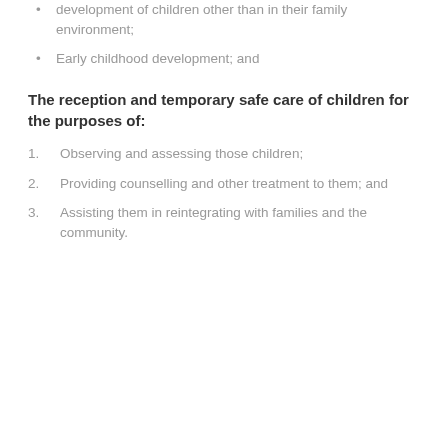development of children other than in their family environment;
Early childhood development; and
The reception and temporary safe care of children for the purposes of:
1. Observing and assessing those children;
2. Providing counselling and other treatment to them; and
3. Assisting them in reintegrating with families and the community.